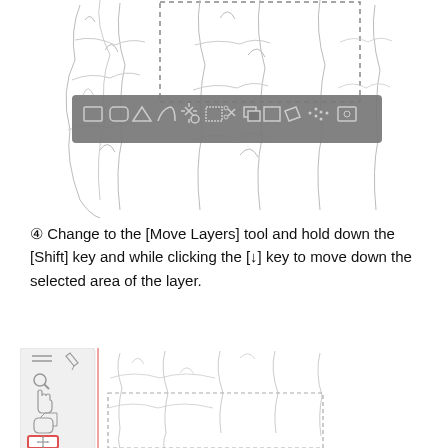[Figure (screenshot): Screenshot of a digital illustration software showing a line drawing of a rocky/stone texture with a selection tool toolbar overlaid in gray across the middle of the canvas. The toolbar contains various selection icons.]
④ Change to the [Move Layers] tool and hold down the [Shift] key and while clicking the [↓] key to move down the selected area of the layer.
[Figure (screenshot): Screenshot of a digital illustration software showing the left tool panel with the Move Layers tool highlighted in a red box at the bottom, and the canvas showing a stone/rock line drawing with a dashed selection rectangle overlaid.]